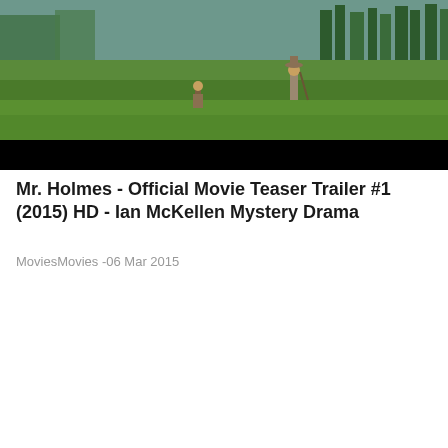[Figure (screenshot): Video thumbnail showing two figures walking in a green field with trees in the background and a black letterbox bar at the bottom. From the movie Mr. Holmes (2015).]
Mr. Holmes - Official Movie Teaser Trailer #1 (2015) HD - Ian McKellen Mystery Drama
MoviesMovies -06 Mar 2015